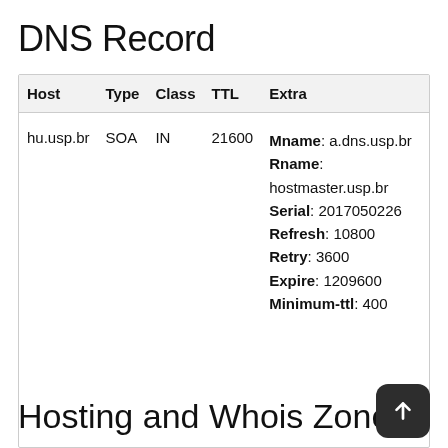DNS Record
| Host | Type | Class | TTL | Extra |
| --- | --- | --- | --- | --- |
| hu.usp.br | SOA | IN | 21600 | Mname: a.dns.usp.br
Rname: hostmaster.usp.br
Serial: 2017050226
Refresh: 10800
Retry: 3600
Expire: 1209600
Minimum-ttl: 400 |
Hosting and Whois Zone